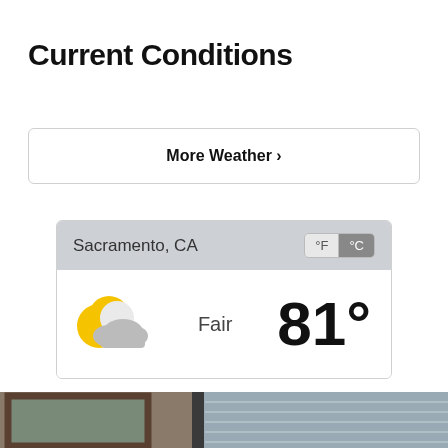Current Conditions
[Figure (infographic): Weather widget showing Sacramento, CA with Fair conditions and 81° temperature. Features a partly cloudy night icon (yellow moon with gray cloud), °F/°C toggle with °C selected, and a 'More Weather ›' button below.]
[Figure (photo): Partial photo strip at the bottom showing what appears to be framed artwork on the left and window blinds on the right.]